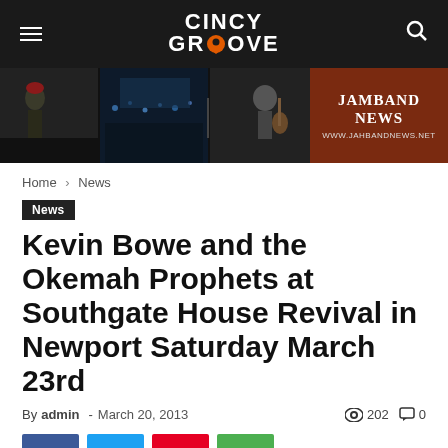CINCY GROOVE
[Figure (photo): Banner advertisement for Jamband News showing concert photos on left and 'JAMBAND NEWS www.jahbandnews.net' text on brown/red background on right]
Home › News
News
Kevin Bowe and the Okemah Prophets at Southgate House Revival in Newport Saturday March 23rd
By admin - March 20, 2013  👁 202  💬 0